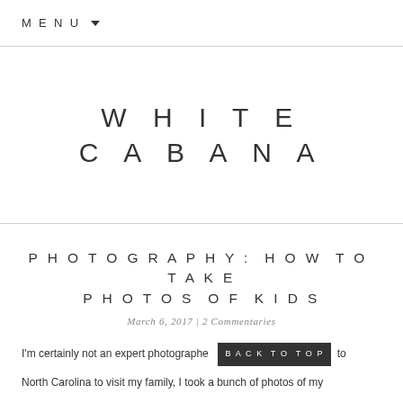MENU ▾
WHITE CABANA
PHOTOGRAPHY: HOW TO TAKE PHOTOS OF KIDS
March 6, 2017 | 2 Commentaries
I'm certainly not an expert photographe…  BACK TO TOP  …to North Carolina to visit my family, I took a bunch of photos of my